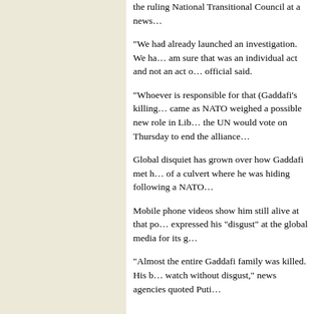the ruling National Transitional Council at a news...
“We had already launched an investigation. We have... am sure that was an individual act and not an act o... official said.
“Whoever is responsible for that (Gaddafi’s killing... came as NATO weighed a possible new role in Lib... the UN would vote on Thursday to end the alliance...
Global disquiet has grown over how Gaddafi met h... of a culvert where he was hiding following a NAT...
Mobile phone videos show him still alive at that po... expressed his “disgust” at the global media for its g...
“Almost the entire Gaddafi family was killed. His b... watch without disgust,” news agencies quoted Puti...
Turkey qual...
Ercis, October 27
Rain and snow today compounded difficulties for t... that hit eastern Turkey, and the government said th... and emergency management said 2,300 people we...